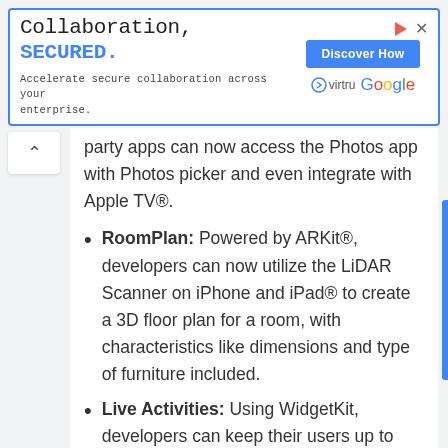[Figure (screenshot): Advertisement banner: 'Collaboration, SECURED. Accelerate secure collaboration across your enterprise.' with Discover How button, Virtru and Google logos, and corner icons.]
party apps can now access the Photos app with Photos picker and even integrate with Apple TV®.
RoomPlan: Powered by ARKit®, developers can now utilize the LiDAR Scanner on iPhone and iPad® to create a 3D floor plan for a room, with characteristics like dimensions and type of furniture included.
Live Activities: Using WidgetKit, developers can keep their users up to date with the most current information for an activity or event right on the Lock Screen.²